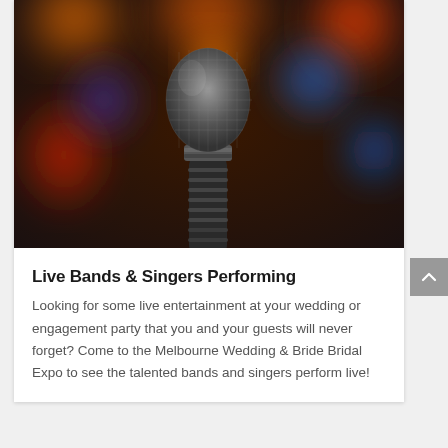[Figure (photo): Close-up photo of a microphone against a dark background with colorful bokeh lights (orange, red, blue, purple circles) in the background]
Live Bands & Singers Performing
Looking for some live entertainment at your wedding or engagement party that you and your guests will never forget? Come to the Melbourne Wedding & Bride Bridal Expo to see the talented bands and singers perform live!